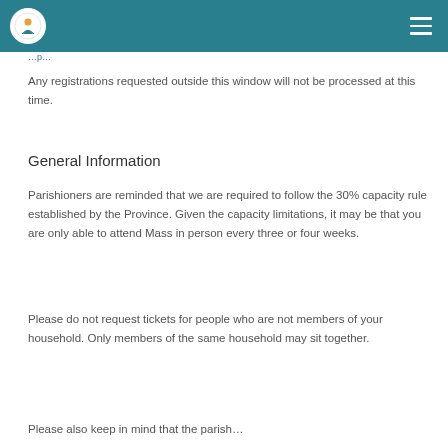Any registrations requested outside this window will not be processed at this time.
General Information
Parishioners are reminded that we are required to follow the 30% capacity rule established by the Province. Given the capacity limitations, it may be that you are only able to attend Mass in person every three or four weeks.
Please do not request tickets for people who are not members of your household. Only members of the same household may sit together.
Please also keep in mind that the parish...